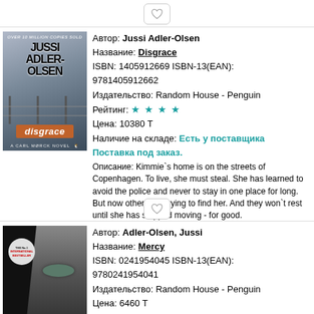[Figure (other): Heart/wishlist button icon at top]
[Figure (illustration): Book cover for Disgrace by Jussi Adler-Olsen - dark fence/barbed wire scene]
Автор: Jussi Adler-Olsen
Название: Disgrace
ISBN: 1405912669 ISBN-13(EAN): 9781405912662
Издательство: Random House - Penguin
Рейтинг: ★★★★
Цена: 10380 Т
Наличие на складе: Есть у поставщика Поставка под заказ.
Описание: Kimmie`s home is on the streets of Copenhagen. To live, she must steal. She has learned to avoid the police and never to stay in one place for long. But now others are trying to find her. And they won`t rest until she has stopped moving - for good.
[Figure (other): Heart/wishlist button icon below first book]
[Figure (illustration): Book cover for Mercy by Adler-Olsen, Jussi - dark face/eye close-up]
Автор: Adler-Olsen, Jussi
Название: Mercy
ISBN: 0241954045 ISBN-13(EAN): 9780241954041
Издательство: Random House - Penguin
Цена: 6460 Т
Наличие на складе: Нет в наличии.